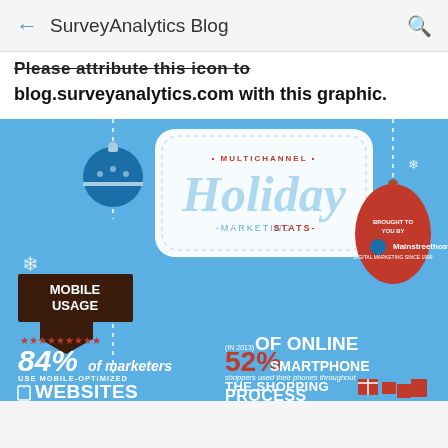SurveyAnalytics Blog
Please attribute this icon to blog.surveyanalytics.com with this graphic.
[Figure (infographic): Multichannel Holiday Marketing Stats infographic with blue background, holiday ornaments, showing Mobile Usage section with stats: 84% of marketers use mobile-optimized websites, and in 2013, 52% of online smartphone shoppers used their phones throughout the shopping process. Brought to you by Mainstreethost.]